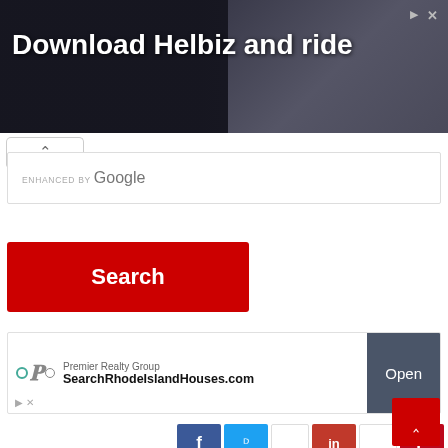[Figure (photo): Dark advertisement banner showing a person with a scooter/camera equipment. Text reads 'Download Helbiz and ride' with close/skip icons top right.]
[Figure (screenshot): Google custom search box with 'ENHANCED BY Google' label and a red Search button below.]
[Figure (screenshot): Premier Realty Group advertisement banner with logo, text 'Premier Realty Group SearchRhodeIslandHouses.com' and an 'Open' button.]
[Figure (screenshot): Social sharing buttons row: Facebook (blue f), Twitter (blue bird), email, LinkedIn (red in), share, Pinterest (red P).]
« Vietnamese American College Preparation
Coalition to Abolish Modern-Day Slavery in Asia (CAMSA) - DC